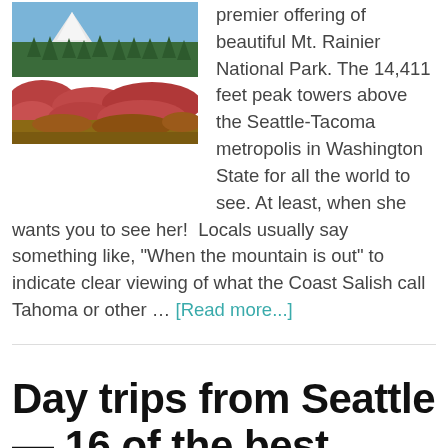[Figure (photo): Landscape photo of Mt. Rainier National Park with red autumn foliage in the foreground and evergreen trees, mountain and blue sky in the background.]
premier offering of beautiful Mt. Rainier National Park. The 14,411 feet peak towers above the Seattle-Tacoma metropolis in Washington State for all the world to see. At least, when she wants you to see her!  Locals usually say something like, "When the mountain is out" to indicate clear viewing of what the Coast Salish call Tahoma or other … [Read more...]
Day trips from Seattle — 16 of the best getaways